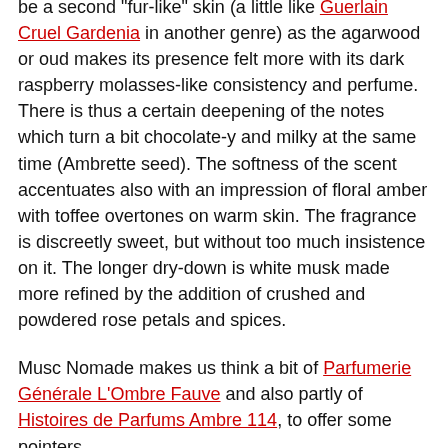be a second "fur-like" skin (a little like Guerlain Cruel Gardenia in another genre) as the agarwood or oud makes its presence felt more with its dark raspberry molasses-like consistency and perfume. There is thus a certain deepening of the notes which turn a bit chocolate-y and milky at the same time (Ambrette seed). The softness of the scent accentuates also with an impression of floral amber with toffee overtones on warm skin. The fragrance is discreetly sweet, but without too much insistence on it. The longer dry-down is white musk made more refined by the addition of crushed and powdered rose petals and spices.
Musc Nomade makes us think a bit of Parfumerie Générale L'Ombre Fauve and also partly of Histoires de Parfums Ambre 114, to offer some pointers.
Middle Eastern vs. Oriental Perfumes
The Orientalist atmosphere of Musc Nomade is